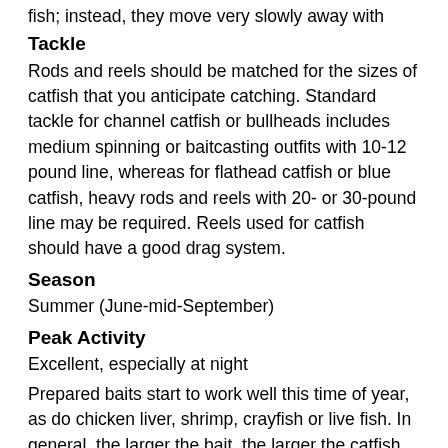fish; instead, they move very slowly away with baits.
Tackle
Rods and reels should be matched for the sizes of catfish that you anticipate catching. Standard tackle for channel catfish or bullheads includes medium spinning or baitcasting outfits with 10-12 pound line, whereas for flathead catfish or blue catfish, heavy rods and reels with 20- or 30-pound line may be required. Reels used for catfish should have a good drag system.
Season
Summer (June-mid-September)
Peak Activity
Excellent, especially at night
Prepared baits start to work well this time of year, as do chicken liver, shrimp, crayfish or live fish. In general, the larger the bait, the larger the catfish.
Catfish prefer deeper habitats during the day and shallower habitats while feeding at night. Productive night areas include shallow flats next to deeper holes and